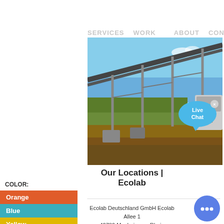SERVICES  WORK       ABOUT  CONTACT
[Figure (photo): Industrial conveyor belt structure over agricultural field with machinery, blue sky background]
Our Locations | Ecolab
COLOR:
Orange
Blue
Yellow
Ecolab Deutschland GmbH Ecolab Allee 1 40789 Monheim am Rhein Germany. Customer Service Tel. +49 (2173) 5991900 Hours Monday – Friday, 7:30 a.m. – 5:00 p.m.